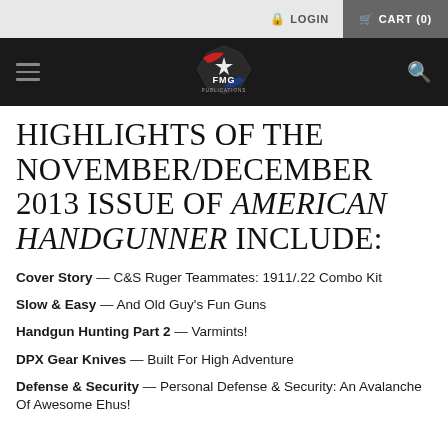LOGIN   CART (0)
[Figure (logo): FMG Publications logo with star and red/blue swoosh on dark navigation bar]
HIGHLIGHTS OF THE NOVEMBER/DECEMBER 2013 ISSUE OF AMERICAN HANDGUNNER INCLUDE:
Cover Story — C&S Ruger Teammates: 1911/.22 Combo Kit
Slow & Easy — And Old Guy's Fun Guns
Handgun Hunting Part 2 — Varmints!
DPX Gear Knives — Built For High Adventure
Defense & Security — Personal Defense & Security: An Avalanche Of Awesome Ehus!